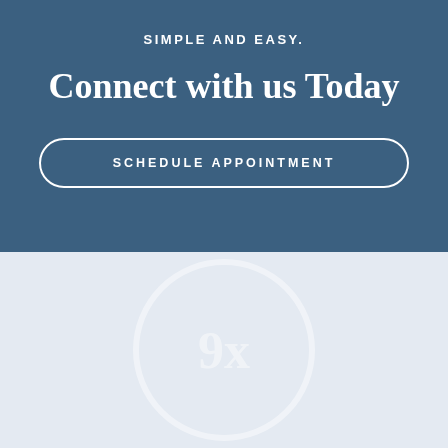SIMPLE AND EASY.
Connect with us Today
SCHEDULE APPOINTMENT
[Figure (logo): Circular logo watermark with '9x' text inside, rendered in light color on a pale blue-grey background]